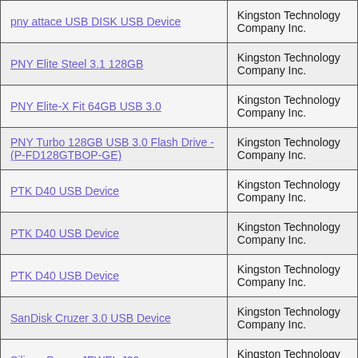| Device Name | Manufacturer |
| --- | --- |
| pny attace USB DISK USB Device | Kingston Technology Company Inc. |
| PNY Elite Steel 3.1 128GB | Kingston Technology Company Inc. |
| PNY Elite-X Fit 64GB USB 3.0 | Kingston Technology Company Inc. |
| PNY Turbo 128GB USB 3.0 Flash Drive - (P-FD128GTBOP-GE) | Kingston Technology Company Inc. |
| PTK D40 USB Device | Kingston Technology Company Inc. |
| PTK D40 USB Device | Kingston Technology Company Inc. |
| PTK D40 USB Device | Kingston Technology Company Inc. |
| SanDisk Cruzer 3.0 USB Device | Kingston Technology Company Inc. |
| Silicon Power JEWEL J20 | Kingston Technology Company Inc. |
| TeamGroup USB 3.1 - 32GB | Kingston Technology Company Inc. |
| Teclast CoolFlash USB3.0 USB 16GB Device | Kingston Technology Company Inc. |